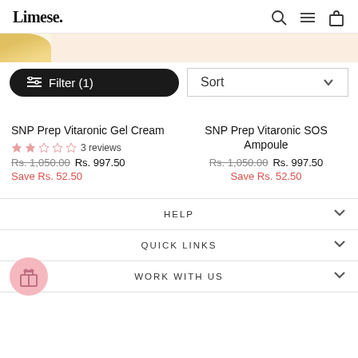Limese.
Filter (1)
Sort
SNP Prep Vitaronic Gel Cream
3 reviews
Rs. 1,050.00 Rs. 997.50 Save Rs. 52.50
SNP Prep Vitaronic SOS Ampoule
Rs. 1,050.00 Rs. 997.50 Save Rs. 52.50
HELP
QUICK LINKS
WORK WITH US